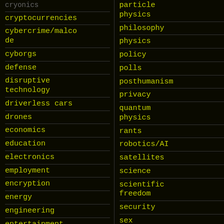cryonics
cryptocurrencies
cybercrime/malcode
cyborgs
defense
disruptive technology
driverless cars
drones
economics
education
electronics
employment
encryption
energy
engineering
entertainment
environmental
ethics
particle physics
philosophy
physics
policy
polls
posthumanism
privacy
quantum physics
rants
robotics/AI
satellites
science
scientific freedom
security
sex
singularity